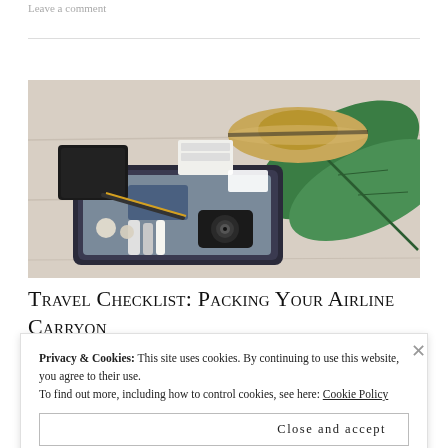Leave a comment
[Figure (photo): Overhead flat lay photo of an open suitcase with travel items including a straw hat, green tropical leaf, camera, passport/documents, cosmetics, and clothing on a wooden surface.]
Travel Checklist: Packing your airline Carryon
July 25, 2018
Privacy & Cookies: This site uses cookies. By continuing to use this website, you agree to their use.
To find out more, including how to control cookies, see here: Cookie Policy
Close and accept